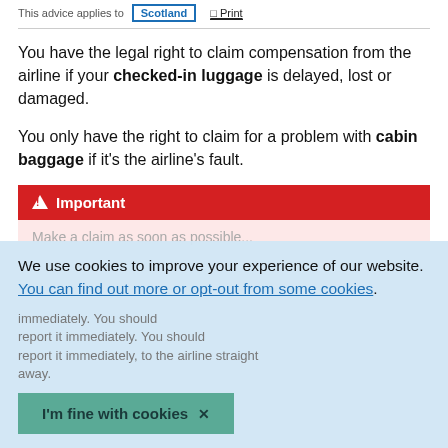This advice applies to Scotland | Print
You have the legal right to claim compensation from the airline if your checked-in luggage is delayed, lost or damaged.
You only have the right to claim for a problem with cabin baggage if it's the airline's fault.
Important
We use cookies to improve your experience of our website. You can find out more or opt-out from some cookies.
I'm fine with cookies ×